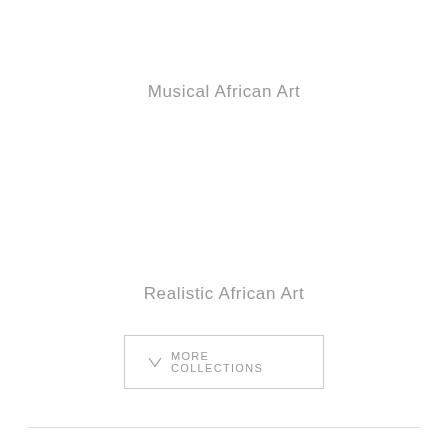Musical African Art
Realistic African Art
MORE COLLECTIONS